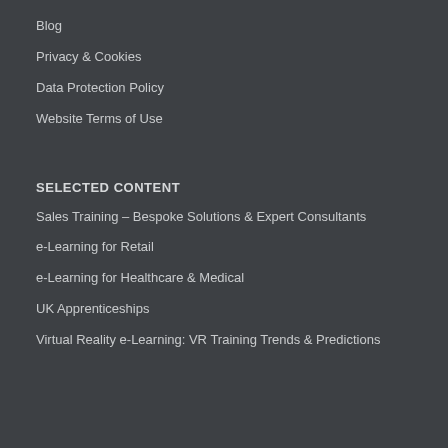Blog
Privacy & Cookies
Data Protection Policy
Website Terms of Use
SELECTED CONTENT
Sales Training – Bespoke Solutions & Expert Consultants
e-Learning for Retail
e-Learning for Healthcare & Medical
UK Apprenticeships
Virtual Reality e-Learning: VR Training Trends & Predictions